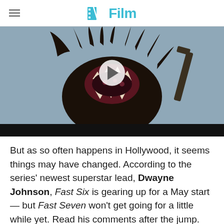/Film
[Figure (screenshot): Video thumbnail showing a creature/monster character with an open mouth revealing teeth, dark dreadlock-like appendages, with a play button overlay. Black bar at bottom.]
But as so often happens in Hollywood, it seems things may have changed. According to the series' newest superstar lead, Dwayne Johnson, Fast Six is gearing up for a May start — but Fast Seven won't get going for a little while yet. Read his comments after the jump.
"I don't think we're going to shoot them back-to-